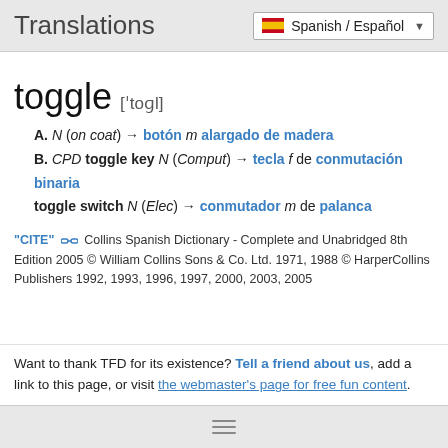Translations
[Figure (other): Spanish / Español language selector with Spanish flag icon and dropdown arrow]
toggle  [ˈtoɡl]
A. N (on coat) → botón m alargado de madera
B. CPD toggle key N (Comput) → tecla f de conmutación binaria toggle switch N (Elec) → conmutador m de palanca
"CITE" [link icon] Collins Spanish Dictionary - Complete and Unabridged 8th Edition 2005 © William Collins Sons & Co. Ltd. 1971, 1988 © HarperCollins Publishers 1992, 1993, 1996, 1997, 2000, 2003, 2005
Want to thank TFD for its existence? Tell a friend about us, add a link to this page, or visit the webmaster's page for free fun content.